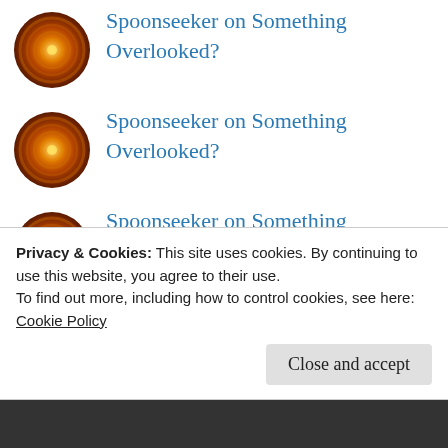Spoonseeker on Something Overlooked?
Spoonseeker on Something Overlooked?
Spoonseeker on Something Overlooked?
Spoonseeker on Something Overlooked?
jimells on Something Overlooked?
Privacy & Cookies: This site uses cookies. By continuing to use this website, you agree to their use.
To find out more, including how to control cookies, see here: Cookie Policy
Close and accept